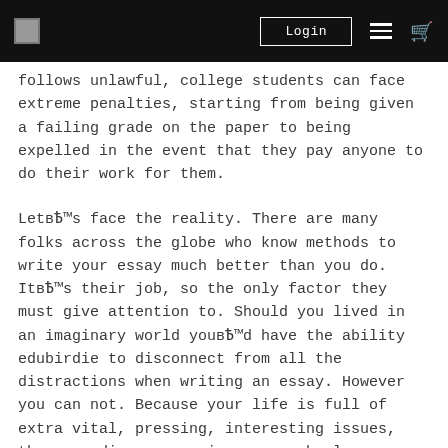Login
follows unlawful, college students can face extreme penalties, starting from being given a failing grade on the paper to being expelled in the event that they pay anyone to do their work for them.
LetвЂ™s face the reality. There are many folks across the globe who know methods to write your essay much better than you do. ItвЂ™s their job, so the only factor they must give attention to. Should you lived in an imaginary world youвЂ™d have the ability edubirdie to disconnect from all the distractions when writing an essay. However you can not. Because your life is full of extra vital, pressing, interesting issues, than spending an evening on a school paper. ItвЂ™s not a nasty factor to outsource your chores to somebody who does it